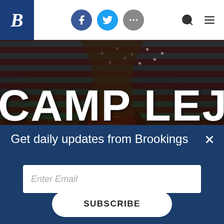B [Brookings logo] | Facebook | Twitter | More | Search | Menu
[Figure (photo): Camp Lejeune hero image showing military boots against an American flag background with green liquid splashes, overlaid with large distressed white text reading 'CAMP LEJEU' (Camp Lejeune)]
CAMP LEJEUNE
Get daily updates from Brookings
Enter Email
SUBSCRIBE